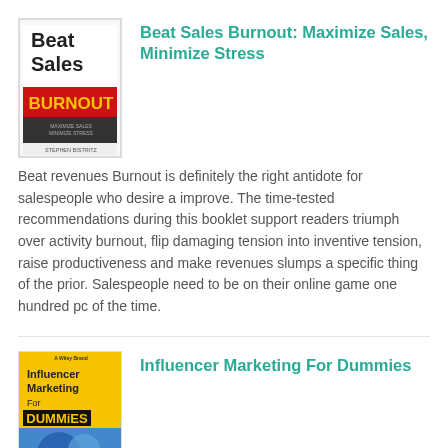[Figure (illustration): Book cover for Beat Sales Burnout: Maximize Sales, Minimize Stress — shows text 'Beat Sales BURNOUT' in black and red/yellow on white background]
Beat Sales Burnout: Maximize Sales, Minimize Stress
Beat revenues Burnout is definitely the right antidote for salespeople who desire a improve. The time-tested recommendations during this booklet support readers triumph over activity burnout, flip damaging tension into inventive tension, raise productiveness and make revenues slumps a specific thing of the prior. Salespeople need to be on their online game one hundred pc of the time.
[Figure (illustration): Book cover for Influencer Marketing For Dummies — yellow and black Dummies series cover with blue image]
Influencer Marketing For Dummies
The simple approach to get 'in' with influencer advertising Are you a advertising guru seeking to remain on the best of your online game? you then must be within the recognize on influencer advertising. A hybrid of content material advertising and local advertisements, influencer advertising and marketing is a